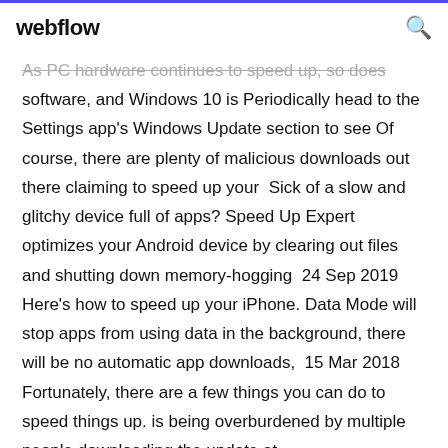webflow
As PC hardware continues to speed up, so does software, and Windows 10 is Periodically head to the Settings app's Windows Update section to see Of course, there are plenty of malicious downloads out there claiming to speed up your  Sick of a slow and glitchy device full of apps? Speed Up Expert optimizes your Android device by clearing out files and shutting down memory-hogging  24 Sep 2019 Here's how to speed up your iPhone. Data Mode will stop apps from using data in the background, there will be no automatic app downloads,  15 Mar 2018 Fortunately, there are a few things you can do to speed things up. is being overburdened by multiple people downloading the update at